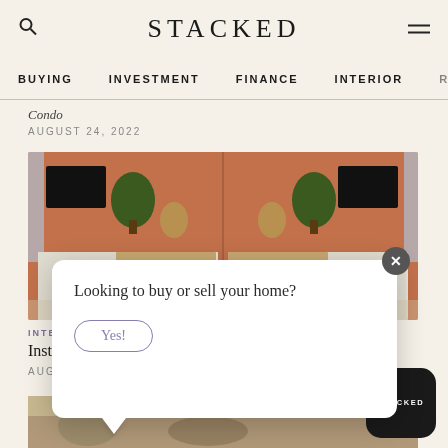STACKED
BUYING  INVESTMENT  FINANCE  INTERIOR  R
Condo
AUGUST 24, 2022
[Figure (photo): Interior room photo showing sideboard furniture with rattan cabinet, potted plant, TV, against an orange/terracotta wall — shown as a mirrored/repeated composition]
INTER
Instagram, And Reddit
AUGUST 23, 2022
[Figure (photo): Partial bottom article image, partially visible]
[Figure (infographic): Modal popup overlay asking 'Looking to buy or sell your home?' with a 'Yes!' button and close (x) button]
[Figure (logo): Stacked app badge — black rounded square with STACKED text in white]